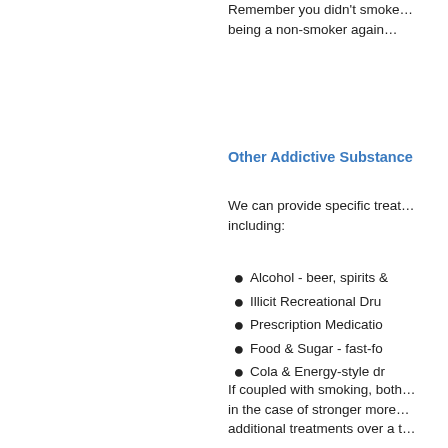Remember you didn't smoke... being a non-smoker again…
Other Addictive Substance
We can provide specific treat... including:
Alcohol - beer, spirits &
Illicit Recreational Dru
Prescription Medicatio
Food & Sugar - fast-fo
Cola & Energy-style dr
If coupled with smoking, both in the case of stronger more additional treatments over a t